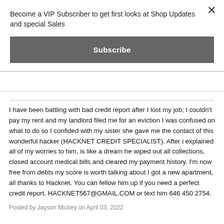Become a VIP Subscriber to get first looks at Shop Updates and special Sales
Subscribe
I have been battling with bad credit report after I lost my job; I couldn't pay my rent and my landlord filed me for an eviction I was confused on what to do so I confided with my sister she gave me the contact of this wonderful hacker (HACKNET CREDIT SPECIALIST). After i explained all of my worries to him, is like a dream he wiped out all collections, closed account medical bills and cleared my payment history. I'm now free from debts my score is worth talking about I got a new apartment, all thanks to Hacknet. You can fellow him up if you need a perfect credit report. HACKNET567@GMAIL.COM or text him 646 450 2754.
Posted by Jayson Mickey on April 03, 2022